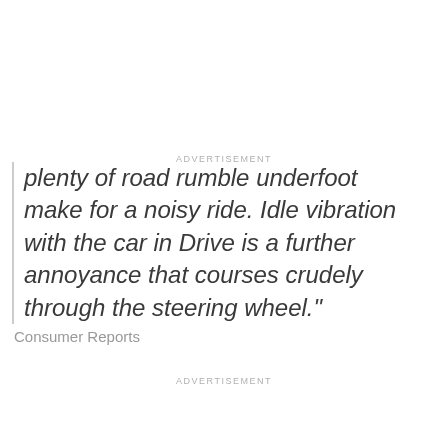ADVERTISEMENT
plenty of road rumble underfoot make for a noisy ride. Idle vibration with the car in Drive is a further annoyance that courses crudely through the steering wheel."
Consumer Reports
ADVERTISEMENT